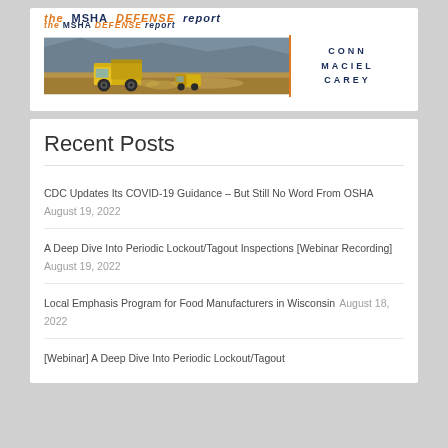[Figure (logo): The MSHA Defense Report banner with mining trucks photo and Conn Maciel Carey law firm logo]
Recent Posts
CDC Updates Its COVID-19 Guidance – But Still No Word From OSHA August 19, 2022
A Deep Dive Into Periodic Lockout/Tagout Inspections [Webinar Recording] August 19, 2022
Local Emphasis Program for Food Manufacturers in Wisconsin August 18, 2022
[Webinar] A Deep Dive Into Periodic Lockout/Tagout